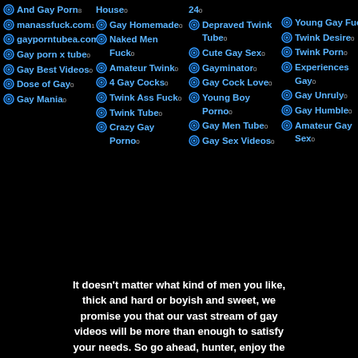And Gay Porn 8
manassfuck.com 1
gayporntubea.com 0
Gay porn x tube 0
Gay Best Videos 0
Dose of Gay 0
Gay Mania 0
House 0
Gay Homemade 0
Naked Men Fuck 0
Amateur Twink 0
4 Gay Cocks 0
Twink Ass Fuck 0
Twink Tube 0
Crazy Gay Porno 0
24 0
Depraved Twink Tube 0
Cute Gay Sex 0
Gayminator 0
Gay Cock Love 0
Young Boy Porno 0
Gay Men Tube 0
Gay Sex Videos 0
Young Gay Fuck 0
Twink Desire 0
Twink Porn 0
Experiences Gay 0
Gay Unruly 0
Gay Humble 0
Amateur Gay Sex 0
It doesn't matter what kind of men you like, thick and hard or boyish and sweet, we promise you that our vast stream of gay videos will be more than enough to satisfy your needs. So go ahead, hunter, enjoy the